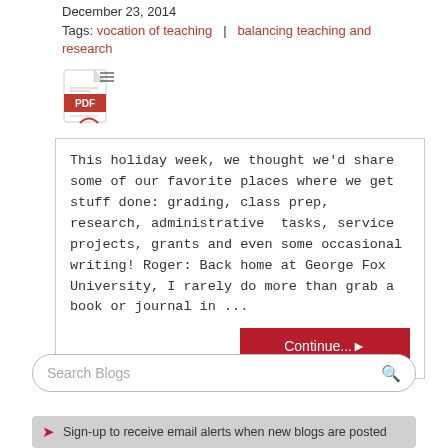December 23, 2014
Tags: vocation of teaching | balancing teaching and research
[Figure (other): PDF icon with red document symbol]
This holiday week, we thought we'd share some of our favorite places where we get stuff done: grading, class prep, research, administrative tasks, service projects, grants and even some occasional writing! Roger: Back home at George Fox University, I rarely do more than grab a book or journal in ...
Continue...▶
Search Blogs
Sign-up to receive email alerts when new blogs are posted